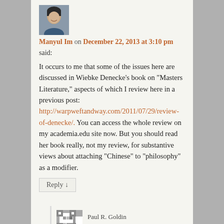[Figure (photo): Avatar photo of Manyul Im, a person smiling]
Manyul Im on December 22, 2013 at 3:10 pm
said:
It occurs to me that some of the issues here are discussed in Wiebke Denecke's book on "Masters Literature," aspects of which I review here in a previous post: http://warpweftandway.com/2011/07/29/review-of-denecke/. You can access the whole review on my academia.edu site now. But you should read her book really, not my review, for substantive views about attaching "Chinese" to "philosophy" as a modifier.
Reply ↓
[Figure (illustration): Pixel/QR-style avatar placeholder for Paul R. Goldin]
Paul R. Goldin on December 25, 2013 at 4:13 am
said: